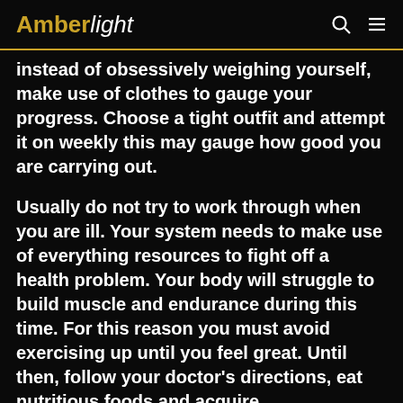AmberLight
Instead of obsessively weighing yourself, make use of clothes to gauge your progress. Choose a tight outfit and attempt it on weekly this may gauge how good you are carrying out.
Usually do not try to work through when you are ill. Your system needs to make use of everything resources to fight off a health problem. Your body will struggle to build muscle and endurance during this time. For this reason you must avoid exercising up until you feel great. Until then, follow your doctor's directions, eat nutritious foods and acquire